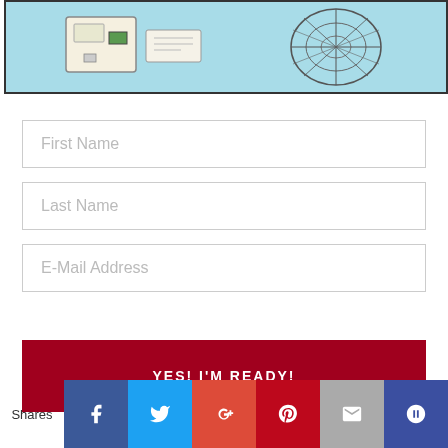[Figure (illustration): Partial illustration showing objects on light blue background with black border — appears to be tech/office items including what looks like a router or device on left and a wire rack/stand on right]
First Name
Last Name
E-Mail Address
YES! I'M READY!
Shares